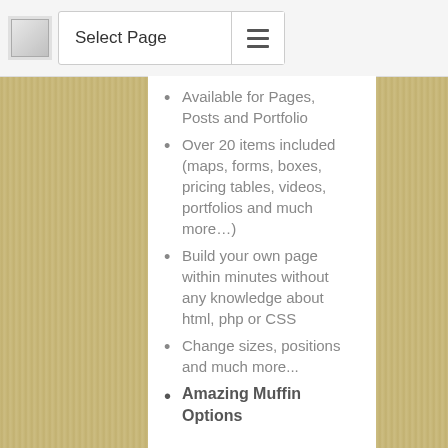Select Page
Available for Pages, Posts and Portfolio
Over 20 items included (maps, forms, boxes, pricing tables, videos, portfolios and much more…)
Build your own page within minutes without any knowledge about html, php or CSS
Change sizes, positions and much more...
Amazing Muffin Options
Change color for each element you see
Choose between 4 predefined skins or create your own
Turn on/off responsive version by one click
Choose layout (boxed or full width)
Change phone & email in header withing seconds
Turn on/off Sticky Header Menu